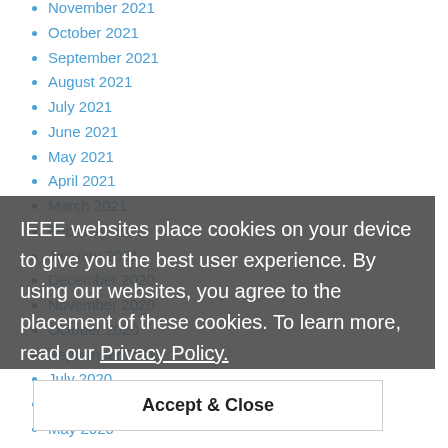November 2021
October 2021
September 2021
August 2021
July 2021
June 2021
May 2021
April 2021
March 2021
February 2021
January 2021
December 2020
November 2020
October 2020
September 2020
July 2020
June 2020
May 2020
April 2020
March 2020
February 2020
January 2020
IEEE websites place cookies on your device to give you the best user experience. By using our websites, you agree to the placement of these cookies. To learn more, read our Privacy Policy.
Accept & Close